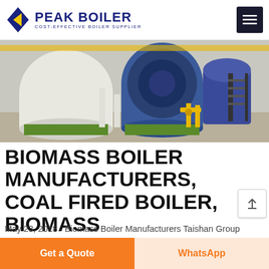[Figure (logo): Peak Boiler logo with blue pentagon/diamond shape and yellow triangle, text PEAK BOILER in dark blue, subtitle COST-EFFECTIVE BOILER SUPPLIER]
[Figure (photo): Industrial boiler equipment in a factory setting showing large cylindrical blue boilers, yellow pipes and valves, white tanks, and metal staircases]
BIOMASS BOILER MANUFACTURERS, COAL FIRED BOILER, BIOMASS
May 23, 2018 · Biomass Boiler Manufacturers Taishan Group participated in the coal fired boilers ultra-low emission and urban clean and efficient heating summit forum on April 26-27, 2018. Coal Fired Boiler Manufacturers Taishan Group was one